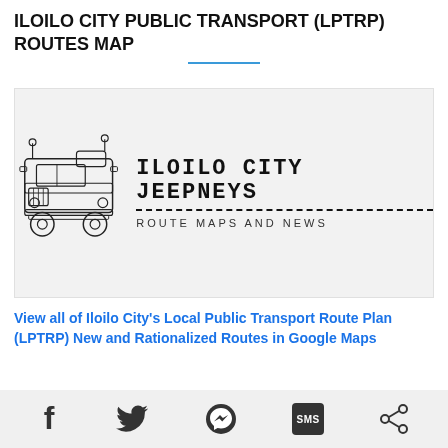ILOILO CITY PUBLIC TRANSPORT (LPTRP) ROUTES MAP
[Figure (logo): Iloilo City Jeepneys logo featuring a line-art jeepney illustration on the left and stylized bold text 'ILOILO CITY JEEPNEYS' with a dashed underline and subtitle 'ROUTE MAPS AND NEWS' on a light gray background.]
View all of Iloilo City's Local Public Transport Route Plan (LPTRP) New and Rationalized Routes in Google Maps
[Figure (infographic): Social share bar with Facebook, Twitter, Messenger, SMS, and Share icons.]